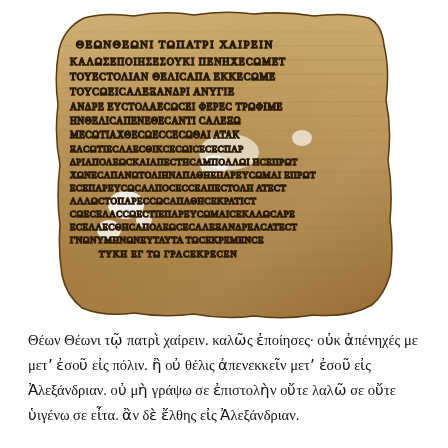[Figure (photo): Photograph of an ancient Greek papyrus fragment with handwritten Greek text, damaged and torn at edges, on a yellowed papyrus background.]
Θέων Θέωνι τῷ πατρὶ χαίρειν. καλῶς ἐποίησες· οὐκ ἀπένηχές με μετʼ ἐσοῦ εἰς πόλιν. ἢ οὐ θέλις ἀπενεκκεῖν μετʼ ἐσοῦ εἰς Ἀλεξάνδριαν. οὐ μὴ γράψω σε ἐπιστολὴν οὔτε λαλῶ σε οὔτε ὑιγένω σε εἶτα. ἂν δὲ ἔλθης εἰς Ἀλεξάνδριαν.